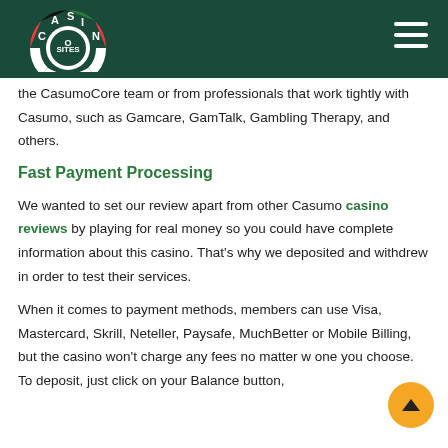Casino Sites logo and navigation
the CasumoCore team or from professionals that work tightly with Casumo, such as Gamcare, GamTalk, Gambling Therapy, and others.
Fast Payment Processing
We wanted to set our review apart from other Casumo casino reviews by playing for real money so you could have complete information about this casino. That's why we deposited and withdrew in order to test their services.
When it comes to payment methods, members can use Visa, Mastercard, Skrill, Neteller, Paysafe, MuchBetter or Mobile Billing, but the casino won't charge any fees no matter w one you choose. To deposit, just click on your Balance button,